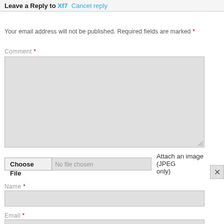Leave a Reply to Xf7  Cancel reply
Your email address will not be published. Required fields are marked *
Comment *
Choose File  No file chosen  Attach an image (JPEG only)
Name *
Email *
Website